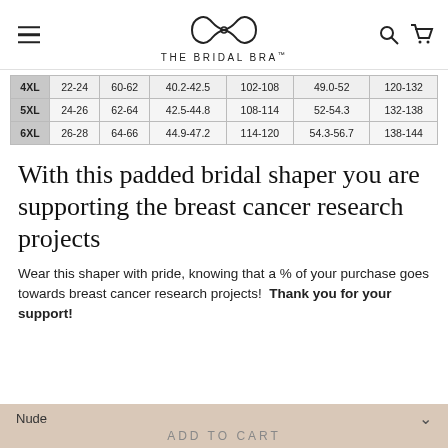THE BRIDAL BRA
| 4XL | 22-24 | 60-62 | 40.2-42.5 | 102-108 | 49.0-52 | 120-132 |
| --- | --- | --- | --- | --- | --- | --- |
| 5XL | 24-26 | 62-64 | 42.5-44.8 | 108-114 | 52-54.3 | 132-138 |
| 6XL | 26-28 | 64-66 | 44.9-47.2 | 114-120 | 54.3-56.7 | 138-144 |
With this padded bridal shaper you are supporting the breast cancer research projects
Wear this shaper with pride, knowing that a % of your purchase goes towards breast cancer research projects! Thank you for your support!